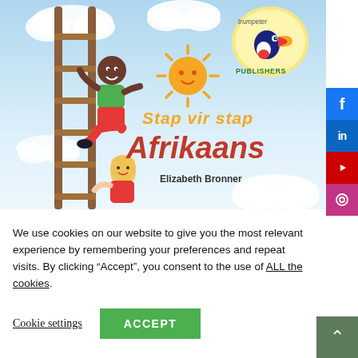[Figure (illustration): Book cover illustration for 'Stap vir stap Afrikaans' by Elizabeth Bronner, published by Trumpeter Publishers. Shows a light blue sky background with white clouds, an orange smiling sun, a child climbing a wooden ladder on the left, a girl at the bottom of the ladder, and the Trumpeter Publishers logo (toucan bird in circle) at top right. Title 'Stap vir stap Afrikaans' in orange italic and bold red text. Author name Elizabeth Bronner below.]
We use cookies on our website to give you the most relevant experience by remembering your preferences and repeat visits. By clicking “Accept”, you consent to the use of ALL the cookies.
Cookie settings
ACCEPT